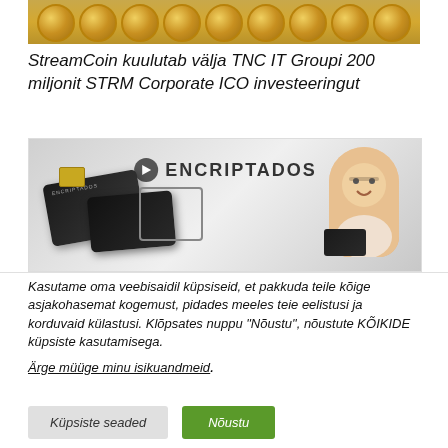[Figure (photo): Top portion of a photo showing stacked gold coins against a bright background]
StreamCoin kuulutab välja TNC IT Groupi 200 miljonit STRM Corporate ICO investeeringut
[Figure (photo): Encriptados branded banner showing dark SIM/credit cards and a smiling man with glasses on right side, with the Encriptados logo at the top center]
Kasutame oma veebisaidil küpsiseid, et pakkuda teile kõige asjakohasemat kogemust, pidades meeles teie eelistusi ja korduvaid külastusi. Klõpsates nuppu "Nõustu", nõustute KÕIKIDE küpsiste kasutamisega.
Ärge müüge minu isikuandmeid.
Küpsiste seaded
Nõustu